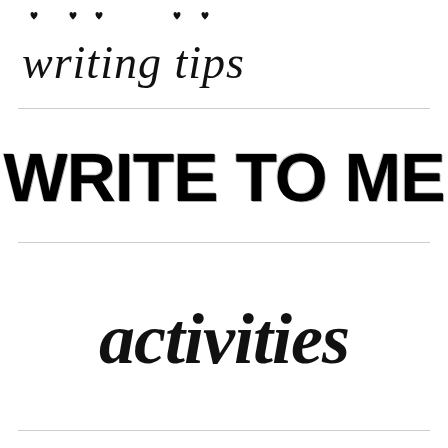writing tips
WRITE TO ME
activities